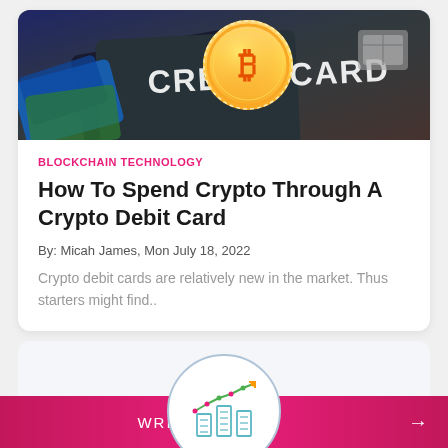[Figure (photo): Photo of a gold Bitcoin coin resting on a dark credit card with 'CREDIT CARD' text embossed, alongside other colorful cards]
BLOCKCHAIN TECHNOLOGY
How To Spend Crypto Through A Crypto Debit Card
By: Micah James, Mon July 18, 2022
Crypto debit cards are relatively new in the market. Thus starters might find..
[Figure (illustration): Circular icon with a line chart trending upward and bar chart buildings below, in teal/green outline style]
WRITE FOR US